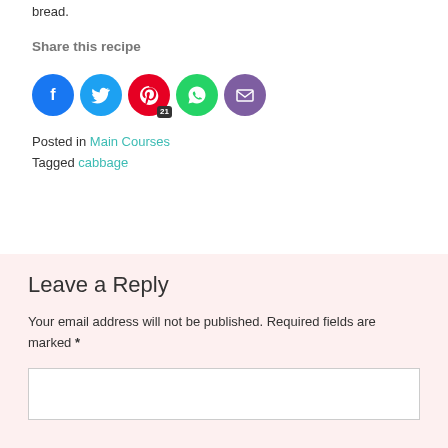bread.
Share this recipe
[Figure (infographic): Social share buttons: Facebook (blue circle), Twitter (light blue circle), Pinterest (red circle with badge '21'), WhatsApp (green circle), Email (purple circle)]
Posted in Main Courses
Tagged cabbage
Leave a Reply
Your email address will not be published. Required fields are marked *